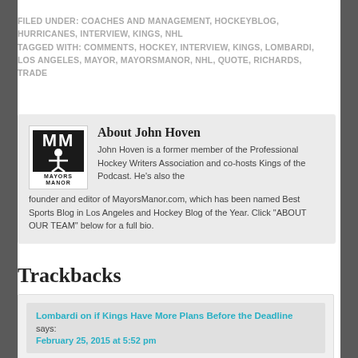FILED UNDER: COACHES AND MANAGEMENT, HOCKEYBLOG, HURRICANES, INTERVIEW, KINGS, NHL
TAGGED WITH: COMMENTS, HOCKEY, INTERVIEW, KINGS, LOMBARDI, LOS ANGELES, MAYOR, MAYORSMANOR, NHL, QUOTE, RICHARDS, TRADE
[Figure (logo): Mayors Manor logo — stylized hockey player silhouette with MM letters, MAYORS MANOR text below]
About John Hoven
John Hoven is a former member of the Professional Hockey Writers Association and co-hosts Kings of the Podcast. He's also the founder and editor of MayorsManor.com, which has been named Best Sports Blog in Los Angeles and Hockey Blog of the Year. Click "ABOUT OUR TEAM" below for a full bio.
Trackbacks
Lombardi on if Kings Have More Plans Before the Deadline says:
February 25, 2015 at 5:52 pm